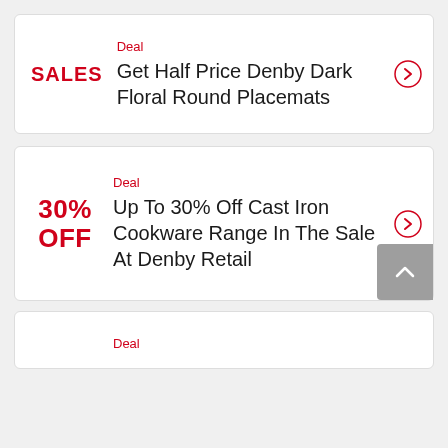SALES
Deal
Get Half Price Denby Dark Floral Round Placemats
30% OFF
Deal
Up To 30% Off Cast Iron Cookware Range In The Sale At Denby Retail
Deal